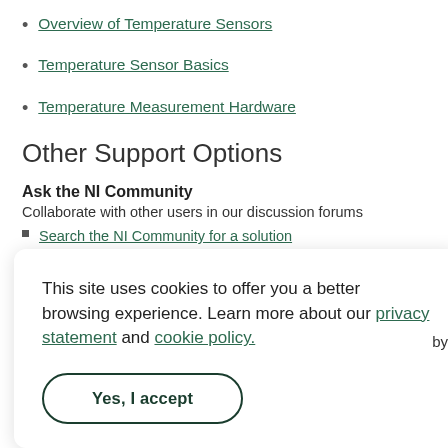Overview of Temperature Sensors
Temperature Sensor Basics
Temperature Measurement Hardware
Other Support Options
Ask the NI Community
Collaborate with other users in our discussion forums
Search the NI Community for a solution
This site uses cookies to offer you a better browsing experience. Learn more about our privacy statement and cookie policy.
Yes, I accept